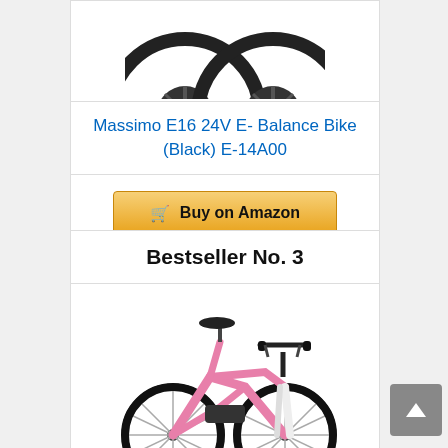[Figure (photo): Two black wheels/tires shown from the front, partially visible at top of page]
Massimo E16 24V E- Balance Bike (Black) E-14A00
Buy on Amazon
Bestseller No. 3
[Figure (photo): Pink electric balance bike with black seat and handlebars, white fork, photographed on white background]